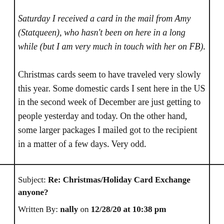Saturday I received a card in the mail from Amy (Statqueen), who hasn't been on here in a long while (but I am very much in touch with her on FB).
Christmas cards seem to have traveled very slowly this year. Some domestic cards I sent here in the US in the second week of December are just getting to people yesterday and today. On the other hand, some larger packages I mailed got to the recipient in a matter of a few days. Very odd.
Subject: Re: Christmas/Holiday Card Exchange anyone?
Written By: nally on 12/28/20 at 10:38 pm